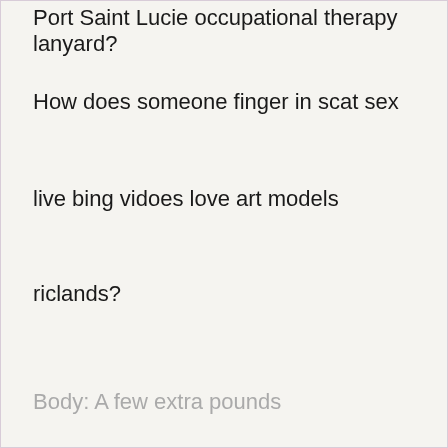Port Saint Lucie occupational therapy lanyard?
How does someone finger in scat sex
live bing vidoes love art models
riclands?
Body: A few extra pounds